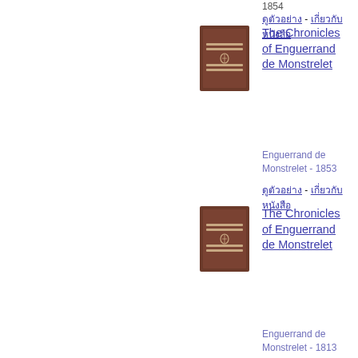1854
ดูตัวอย่าง - เกี่ยวกับหนังสือ
[Figure (illustration): Brown book cover with horizontal lines and small ornament, representing The Chronicles of Enguerrand de Monstrelet]
The Chronicles of Enguerrand de Monstrelet
Enguerrand de Monstrelet - 1853
ดูตัวอย่าง - เกี่ยวกับหนังสือ
[Figure (illustration): Brown book cover with horizontal lines and small ornament, representing The Chronicles of Enguerrand de Monstrelet]
The Chronicles of Enguerrand de Monstrelet
Enguerrand de Monstrelet - 1813
ดูตัวอย่าง - เกี่ยวกับหนังสือ